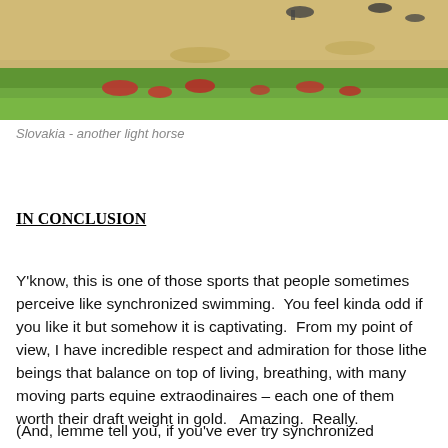[Figure (photo): Outdoor photo showing sandy ground with green vegetation and red flowers in the background, with dark silhouettes of birds in the upper portion against a backdrop of fields.]
Slovakia - another light horse
IN CONCLUSION
Y'know, this is one of those sports that people sometimes perceive like synchronized swimming.  You feel kinda odd if you like it but somehow it is captivating.  From my point of view, I have incredible respect and admiration for those lithe beings that balance on top of living, breathing, with many moving parts equine extraodinaires – each one of them worth their draft weight in gold.   Amazing.  Really.
(And, lemme tell you, if you've ever try synchronized